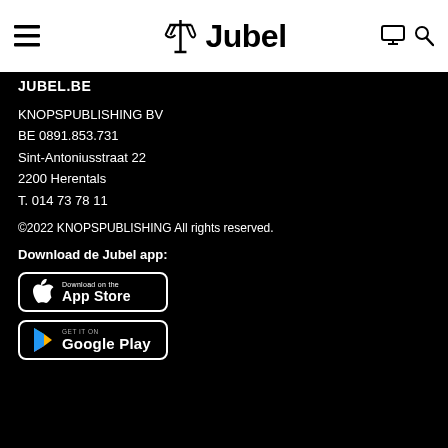Jubel
JUBEL.BE
KNOPSPUBLISHING BV
BE 0891.853.731
Sint-Antoniusstraat 22
2200 Herentals
T. 014 73 78 11
©2022 KNOPSPUBLISHING All rights reserved.
Download de Jubel app:
[Figure (logo): Download on the App Store button]
[Figure (logo): Get it on Google Play button]